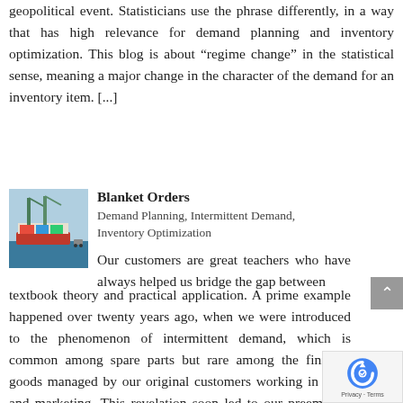geopolitical event. Statisticians use the phrase differently, in a way that has high relevance for demand planning and inventory optimization. This blog is about “regime change” in the statistical sense, meaning a major change in the character of the demand for an inventory item. [...]
[Figure (photo): Photo of a shipping port with cranes and cargo containers]
Blanket Orders
Demand Planning, Intermittent Demand, Inventory Optimization
Our customers are great teachers who have always helped us bridge the gap between textbook theory and practical application. A prime example happened over twenty years ago, when we were introduced to the phenomenon of intermittent demand, which is common among spare parts but rare among the finished goods managed by our original customers working in sales and marketing. This revelation soon led to our preeminent position as